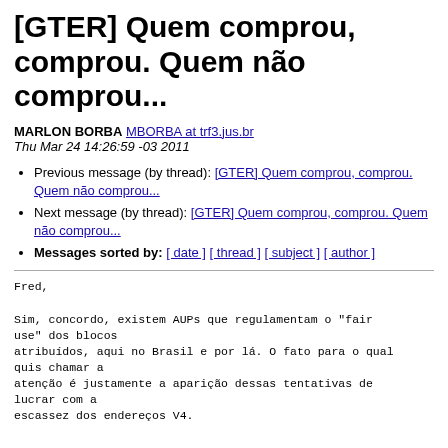[GTER] Quem comprou, comprou. Quem não comprou...
MARLON BORBA MBORBA at trf3.jus.br
Thu Mar 24 14:26:59 -03 2011
Previous message (by thread): [GTER] Quem comprou, comprou. Quem não comprou...
Next message (by thread): [GTER] Quem comprou, comprou. Quem não comprou...
Messages sorted by: [ date ] [ thread ] [ subject ] [ author ]
Fred,

Sim, concordo, existem AUPs que regulamentam o "fair use" dos blocos
atribuídos, aqui no Brasil e por lá. O fato para o qual quis chamar a
atenção é justamente a aparição dessas tentativas de lucrar com a
escassez dos endereços V4.